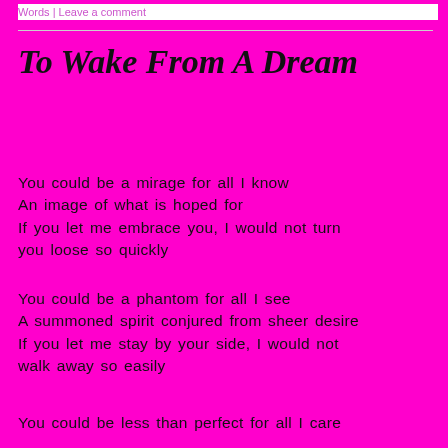Words | Leave a comment
To Wake From A Dream
You could be a mirage for all I know
An image of what is hoped for
If you let me embrace you, I would not turn you loose so quickly
You could be a phantom for all I see
A summoned spirit conjured from sheer desire
If you let me stay by your side, I would not walk away so easily
You could be less than perfect for all I care